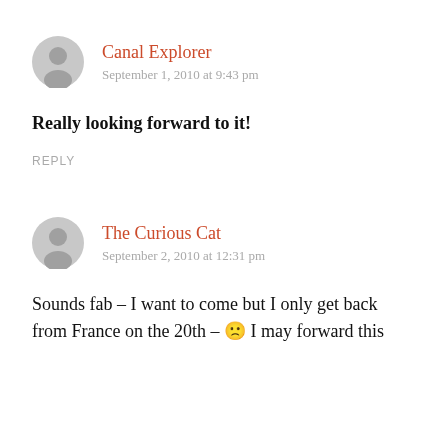Canal Explorer
September 1, 2010 at 9:43 pm
Really looking forward to it!
REPLY
The Curious Cat
September 2, 2010 at 12:31 pm
Sounds fab – I want to come but I only get back from France on the 20th – 😕 I may forward this